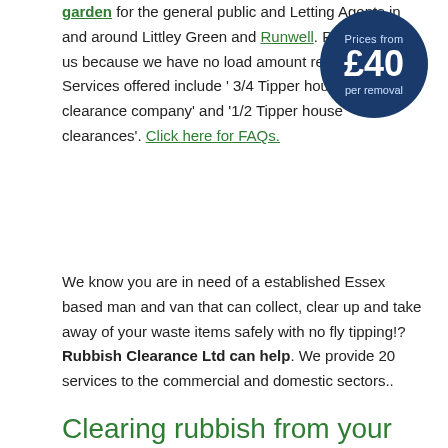garden for the general public and Letting Agents in and around Littley Green and Runwell. People use us because we have no load amount restrictions. Services offered include ' 3/4 Tipper house clearance company' and '1/2 Tipper house clearances'. Click here for FAQs.
[Figure (infographic): Dark blue circular badge showing 'Prices from £40 per removal']
We know you are in need of a established Essex based man and van that can collect, clear up and take away of your waste items safely with no fly tipping!? Rubbish Clearance Ltd can help. We provide 20 services to the commercial and domestic sectors..
Clearing rubbish from your home?